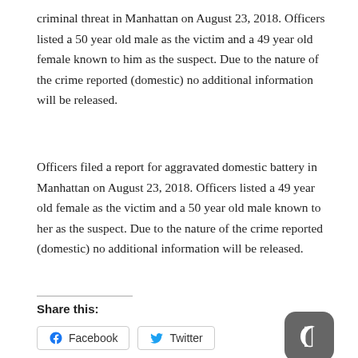criminal threat in Manhattan on August 23, 2018. Officers listed a 50 year old male as the victim and a 49 year old female known to him as the suspect. Due to the nature of the crime reported (domestic) no additional information will be released.
Officers filed a report for aggravated domestic battery in Manhattan on August 23, 2018. Officers listed a 49 year old female as the victim and a 50 year old male known to her as the suspect. Due to the nature of the crime reported (domestic) no additional information will be released.
Share this:
Facebook  Twitter